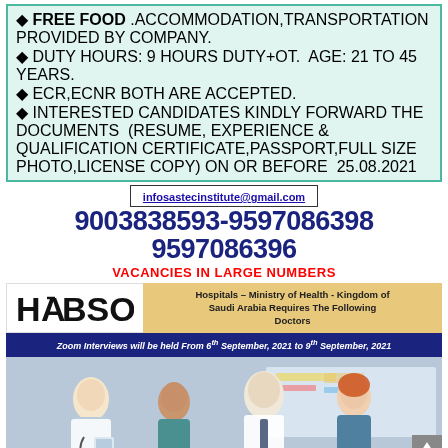FREE FOOD .ACCOMMODATION,TRANSPORTATION PROVIDED BY COMPANY.
DUTY HOURS: 9 HOURS DUTY+OT.  AGE: 21 TO 45 YEARS.
ECR,ECNR BOTH ARE ACCEPTED.
INTERESTED CANDIDATES KINDLY FORWARD THE DOCUMENTS  (RESUME, EXPERIENCE &  QUALIFICATION CERTIFICATE,PASSPORT,FULL SIZE PHOTO,LICENSE COPY) ON OR BEFORE  25.08.2021
infosastecinstitute@gmail.com
9003838593-9597086398 9597086396
VACANCIES IN LARGE NUMBERS
[Figure (logo): HABSONS logo]
Hospitals – Ministry of Health - Kingdom of Saudi Arabia Requires The Following Doctors
Zoom Interviews will be held From 6th September, 2021 to 9th September, 2021
[Figure (photo): Group of doctors and medical professionals smiling]
| Position | Department | Qualification | Experience / Skills |
| --- | --- | --- | --- |
| Consultant | Critical Care | DM / WQ | Minimum 3 – 5 years of relevant experience |